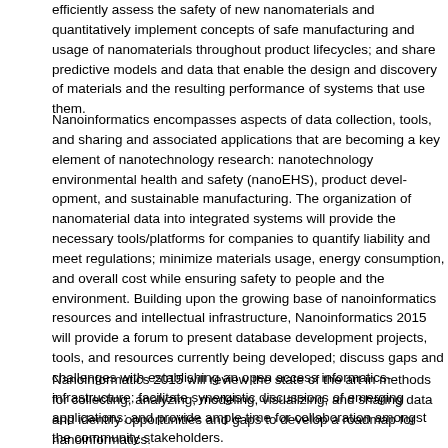efficiently assess the safety of new nanomaterials and quantitatively implement concepts of safe manufacturing and usage of nanomaterials throughout product lifecycles; and share predictive models and data that enable the design and discovery of materials and the resulting performance of systems that use them.
Nanoinformatics encompasses aspects of data collection, tools, and sharing and associated applications that are becoming a key element of nanotechnology research: nanotechnology environmental health and safety (nanoEHS), product development, and sustainable manufacturing. The organization of nanomaterial data into integrated systems will provide the necessary tools/platforms for companies to quantify liability and meet regulations; minimize materials usage, energy consumption, and overall cost while ensuring safety to people and the environment. Building upon the growing base of nanoinformatics resources and intellectual infrastructure, Nanoinformatics 2015 will provide a forum to present database development projects, tools, and resources currently being developed; discuss gaps and challenges with establishing an open access informatics infrastructure; facilitate synergistic discussions of emerging applications; and provide ample time for collaboration amongst the community stakeholders.
Nanoinformatics 2015 will review the state of the art in methods for collecting, analyzing, modeling, visualizing, and sharing data and identify opportunities and gaps to develop a roadmap for nanoinformatics.